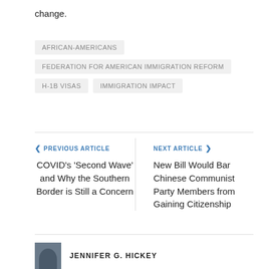change.
AFRICAN-AMERICANS
FEDERATION FOR AMERICAN IMMIGRATION REFORM
H-1B VISAS
IMMIGRATION IMPACT
PREVIOUS ARTICLE
COVID’s ‘Second Wave’ and Why the Southern Border is Still a Concern
NEXT ARTICLE
New Bill Would Bar Chinese Communist Party Members from Gaining Citizenship
JENNIFER G. HICKEY